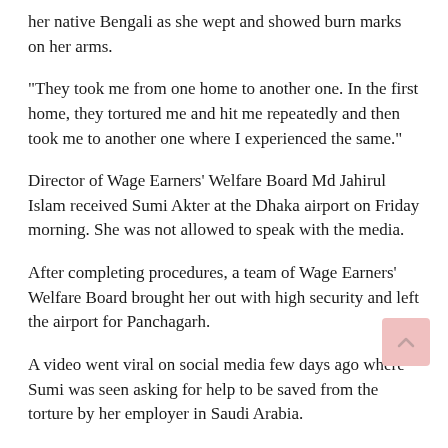her native Bengali as she wept and showed burn marks on her arms.
“They took me from one home to another one. In the first home, they tortured me and hit me repeatedly and then took me to another one where I experienced the same.”
Director of Wage Earners’ Welfare Board Md Jahirul Islam received Sumi Akter at the Dhaka airport on Friday morning. She was not allowed to speak with the media.
After completing procedures, a team of Wage Earners’ Welfare Board brought her out with high security and left the airport for Panchagarh.
A video went viral on social media few days ago where Sumi was seen asking for help to be saved from the torture by her employer in Saudi Arabia.
Later, her husband Nurul Islam lodged a general diary with Paltan police station in the capital in this regard.
Finally, she was brought back with the help of the